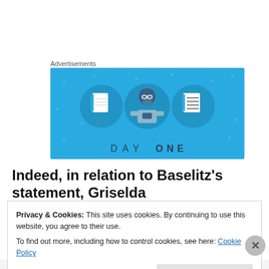Advertisements
[Figure (illustration): Day One app advertisement banner with blue background showing a person holding a phone flanked by two notebook icons and text 'DAY ONE' at the bottom]
Indeed, in relation to Baselitz's statement, Griselda
Pollock, co-author of another great book on women and
Privacy & Cookies: This site uses cookies. By continuing to use this website, you agree to their use.
To find out more, including how to control cookies, see here: Cookie Policy
Close and accept